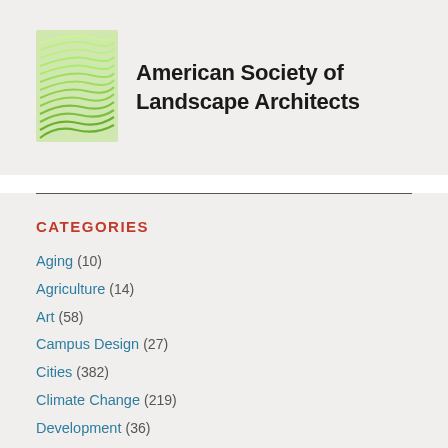[Figure (logo): American Society of Landscape Architects logo with green wave pattern and organization name text]
CATEGORIES
Aging (10)
Agriculture (14)
Art (58)
Campus Design (27)
Cities (382)
Climate Change (219)
Development (36)
Ecosystem Restoration (77)
Ecosystem Services (41)
Education (89)